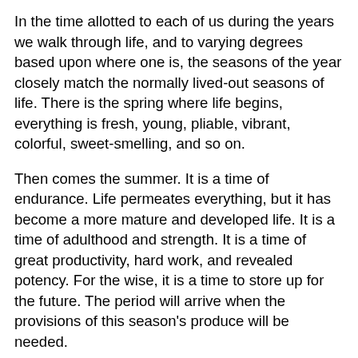In the time allotted to each of us during the years we walk through life, and to varying degrees based upon where one is, the seasons of the year closely match the normally lived-out seasons of life. There is the spring where life begins, everything is fresh, young, pliable, vibrant, colorful, sweet-smelling, and so on.
Then comes the summer. It is a time of endurance. Life permeates everything, but it has become a more mature and developed life. It is a time of adulthood and strength. It is a time of great productivity, hard work, and revealed potency. For the wise, it is a time to store up for the future. The period will arrive when the provisions of this season's produce will be needed.
Eventually, the fall comes along. It is a time of beauty, but of increasing tiredness. There is a change from the strength and productivity that so highlighted the summer to a time of slowing down, a need to rest from labor, and of